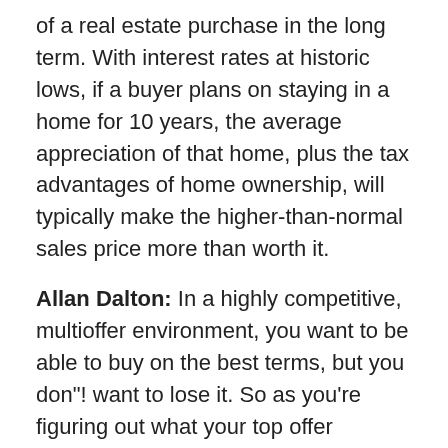of a real estate purchase in the long term. With interest rates at historic lows, if a buyer plans on staying in a home for 10 years, the average appreciation of that home, plus the tax advantages of home ownership, will typically make the higher-than-normal sales price more than worth it.
Allan Dalton: In a highly competitive, multioffer environment, you want to be able to buy on the best terms, but you don"! want to lose it. So as you're figuring out what your top offer number will be, ask yourself this question: “Am I willing to deprive myself or my family of this lifestyle because of $100 a week, $50 a day, $50 a week?” I never want to be cavalier with money, but the point I'm trying to make is that I've never bought a home I wouldn't have paid more for. If you're investing in your lifestyle and you break the numbers down in that manner,